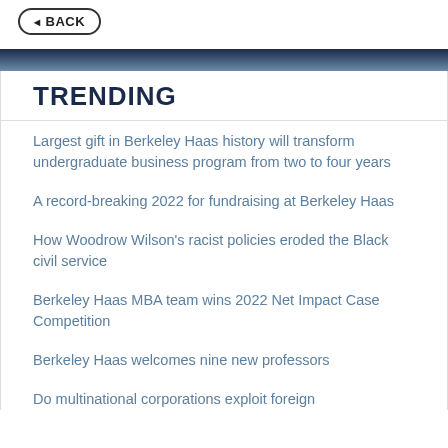BACK
TRENDING
Largest gift in Berkeley Haas history will transform undergraduate business program from two to four years
A record-breaking 2022 for fundraising at Berkeley Haas
How Woodrow Wilson's racist policies eroded the Black civil service
Berkeley Haas MBA team wins 2022 Net Impact Case Competition
Berkeley Haas welcomes nine new professors
Do multinational corporations exploit foreign